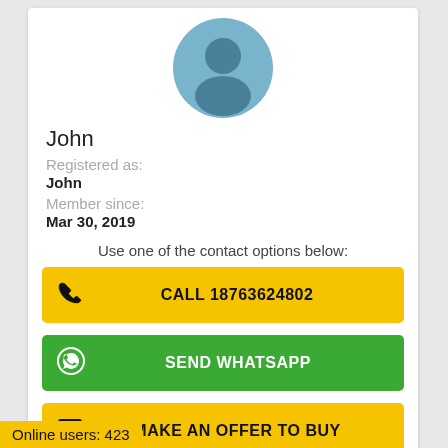[Figure (illustration): Default user avatar — a circular silhouette icon with light blue background, showing a person outline in darker blue-grey.]
John
Registered as:
John
Member since:
Mar 30, 2019
Use one of the contact options below:
CALL 18763624802
SEND WHATSAPP
MAKE AN OFFER TO BUY
Online users: 423